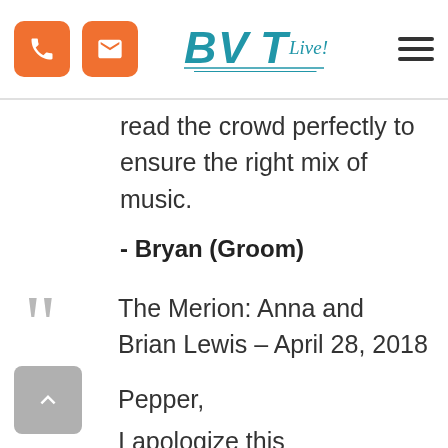BVT Live! — navigation header with phone button, email button, logo, and hamburger menu
read the crowd perfectly to ensure the right mix of music.
- Bryan (Groom)
The Merion: Anna and Brian Lewis – April 28, 2018
Pepper,
I apologize this